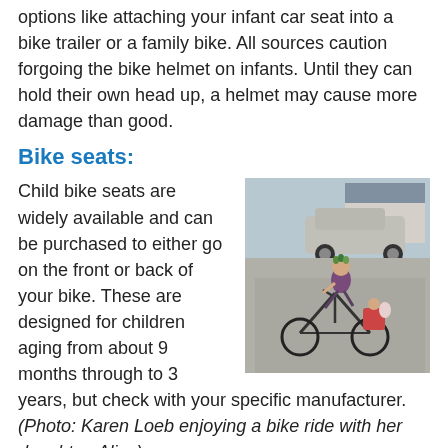options like attaching your infant car seat into a bike trailer or a family bike. All sources caution forgoing the bike helmet on infants. Until they can hold their own head up, a helmet may cause more damage than good.
Bike seats:
[Figure (photo): A woman wearing a crown of flowers rides a bicycle on a residential street. A young child in a rear-mounted child bike seat is visible behind her. A silver car is parked in the background.]
Child bike seats are widely available and can be purchased to either go on the front or back of your bike. These are designed for children aging from about 9 months through to 3 years, but check with your specific manufacturer. (Photo: Karen Loeb enjoying a bike ride with her daughter, Alice)